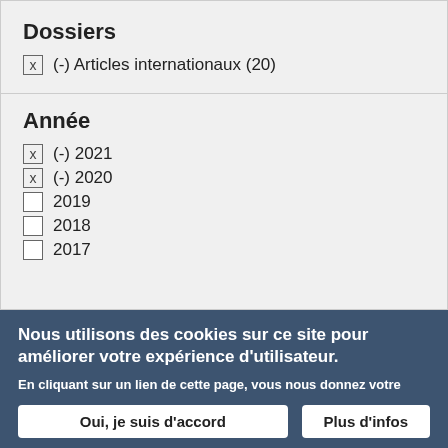Dossiers
x (-) Articles internationaux (20)
Année
x (-) 2021
x (-) 2020
2019
2018
2017
Nous utilisons des cookies sur ce site pour améliorer votre expérience d'utilisateur.
En cliquant sur un lien de cette page, vous nous donnez votre consentement de définir des cookies.
Oui, je suis d'accord
Plus d'infos